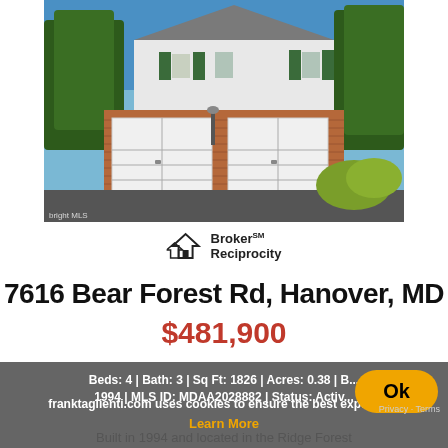[Figure (photo): Exterior photo of a two-story colonial house with white siding, dark green shutters, brick facade on garage level, two-car garage doors, and trees in background. Bright watermark in lower left corner.]
[Figure (logo): Broker Reciprocity logo with house icon]
7616 Bear Forest Rd, Hanover, MD
$481,900
Beds: 4 | Bath: 3 | Sq Ft: 1826 | Acres: 0.38 | B... 1994 | MLS ID: MDAA2028882 | Status: Activ...
franktaglienti.com uses cookies to ensure the best experien...
Learn More
Built in 1994 and located in the Ridge Forest